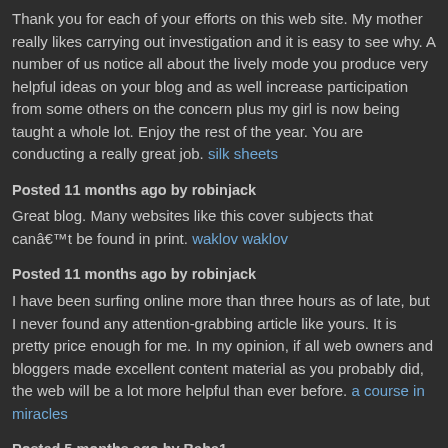Thank you for each of your efforts on this web site. My mother really likes carrying out investigation and it is easy to see why. A number of us notice all about the lively mode you produce very helpful ideas on your blog and as well increase participation from some others on the concern plus my girl is now being taught a whole lot. Enjoy the rest of the year. You are conducting a really great job. silk sheets
Posted 11 months ago by robinjack
Great blog. Many websites like this cover subjects that canâ€™t be found in print. waklov waklov
Posted 11 months ago by robinjack
I have been surfing online more than three hours as of late, but I never found any attention-grabbing article like yours. It is pretty price enough for me. In my opinion, if all web owners and bloggers made excellent content material as you probably did, the web will be a lot more helpful than ever before. a course in miracles
Posted 5 months ago by Baba1
I was surfing net and fortunately came across this site and found very interesting stuff here. Its really fun to read. I enjoyed a lot. Thanks fo